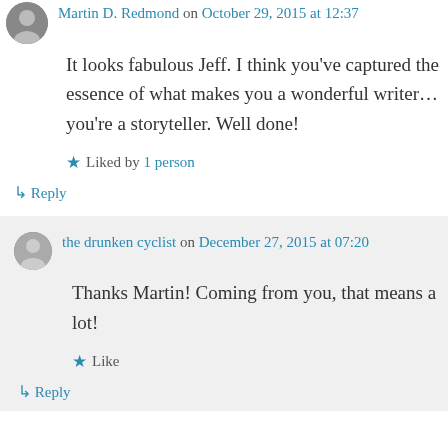Martin D. Redmond on October 29, 2015 at 12:37
It looks fabulous Jeff. I think you've captured the essence of what makes you a wonderful writer… you're a storyteller. Well done!
★ Liked by 1 person
↳ Reply
the drunken cyclist on December 27, 2015 at 07:20
Thanks Martin! Coming from you, that means a lot!
★ Like
↳ Reply